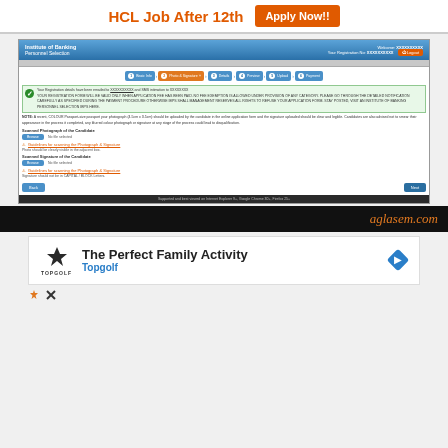[Figure (screenshot): Top advertisement banner: HCL Job After 12th with Apply Now button in orange]
[Figure (screenshot): Institute of Banking Personnel Selection website screenshot showing photo and signature upload step in an online application form]
[Figure (screenshot): aglasem.com branding banner in black background]
[Figure (screenshot): Advertisement for Topgolf - The Perfect Family Activity]